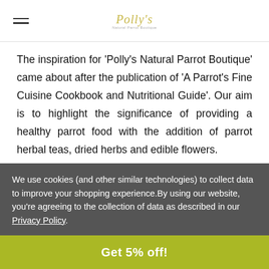Polly's
The inspiration for 'Polly's Natural Parrot Boutique' came about after the publication of 'A Parrot's Fine Cuisine Cookbook and Nutritional Guide'. Our aim is to highlight the significance of providing a healthy parrot food with the addition of parrot herbal teas, dried herbs and edible flowers.

The main inspiration behind this was Polly, our Lesser Sulphur Crested Cockatoo, and her battle with a
We use cookies (and other similar technologies) to collect data to improve your shopping experience.By using our website, you're agreeing to the collection of data as described in our Privacy Policy.
Get 5% off!